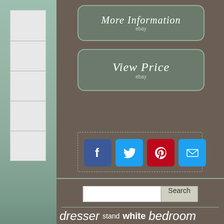[Figure (screenshot): More Information button with ebay label, dark greenish-brown rounded rectangle]
[Figure (screenshot): View Price button with ebay label, dark greenish-brown rounded rectangle]
[Figure (screenshot): Social sharing icons: Facebook (blue), Twitter (blue), Pinterest (red), Email (blue)]
[Figure (screenshot): Search bar with input field and Search button]
dresser stand white bedroom mechanic metal clothes chest sideboard modern home wood garage drawers